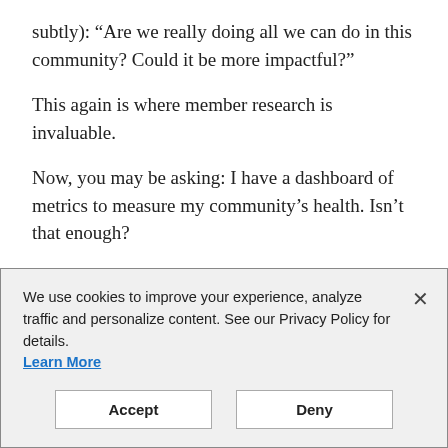subtly): “Are we really doing all we can do in this community? Could it be more impactful?”
This again is where member research is invaluable.
Now, you may be asking: I have a dashboard of metrics to measure my community’s health. Isn’t that enough?
Yes, you should be measuring (if you’re not yet, please change that), but measuring community health, performance, and business outcomes still won’t tell you about missed opportunities. Measurement can lead us astray, and talking to members and observing them to
We use cookies to improve your experience, analyze traffic and personalize content. See our Privacy Policy for details.
Learn More
Accept
Deny